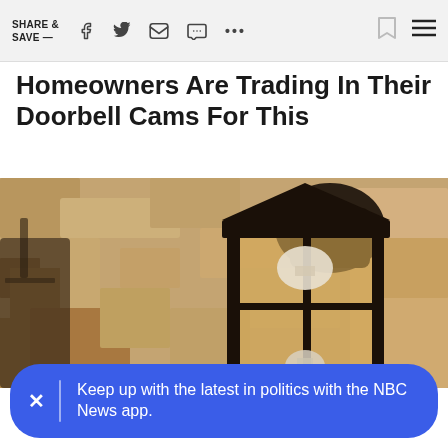SHARE & SAVE —
Homeowners Are Trading In Their Doorbell Cams For This
[Figure (photo): Sepia-toned photo of a black metal outdoor wall lantern light fixture mounted on a textured stucco wall, with a visible light bulb inside]
Keep up with the latest in politics with the NBC News app.